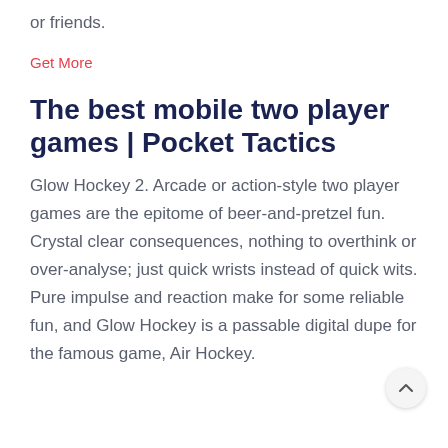or friends.
Get More
The best mobile two player games | Pocket Tactics
Glow Hockey 2. Arcade or action-style two player games are the epitome of beer-and-pretzel fun. Crystal clear consequences, nothing to overthink or over-analyse; just quick wrists instead of quick wits. Pure impulse and reaction make for some reliable fun, and Glow Hockey is a passable digital dupe for the famous game, Air Hockey.